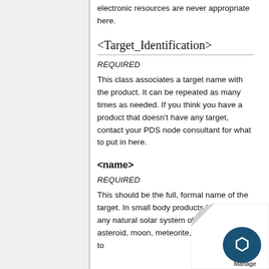electronic resources are never appropriate here.
<Target_Identification>
REQUIRED
This class associates a target name with the product. It can be repeated as many times as needed. If you think you have a product that doesn't have any target, contact your PDS node consultant for what to put in here.
<name>
REQUIRED
This should be the full, formal name of the target. In small body products looking at any natural solar system object (comet, asteroid, moon, meteorite, etc.) the string to